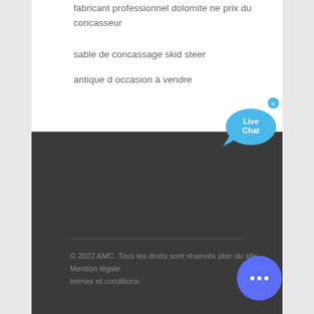fabricant professionnel dolomite ne prix du concasseur
sable de concassage skid steer
antique d occasion à vendre
© 2022 AMC. Tous les droits sont réservés plan du site
Mention légale
termes et conditions